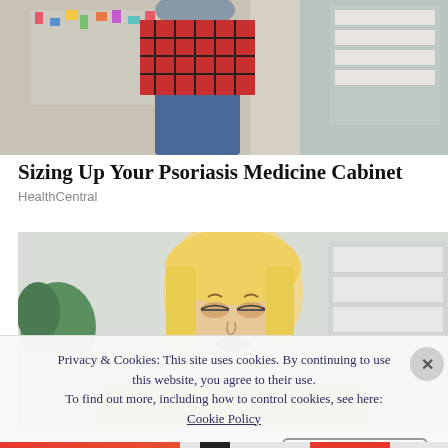[Figure (photo): Top strip photo of a person in a plaid shirt sitting at what appears to be a pharmacy or medical counter, partially cropped]
Sizing Up Your Psoriasis Medicine Cabinet
HealthCentral
[Figure (photo): A blonde woman in a yellow knit sweater looking down with a worried expression, possibly reviewing medical information]
Privacy & Cookies: This site uses cookies. By continuing to use this website, you agree to their use. To find out more, including how to control cookies, see here: Cookie Policy
Close and accept